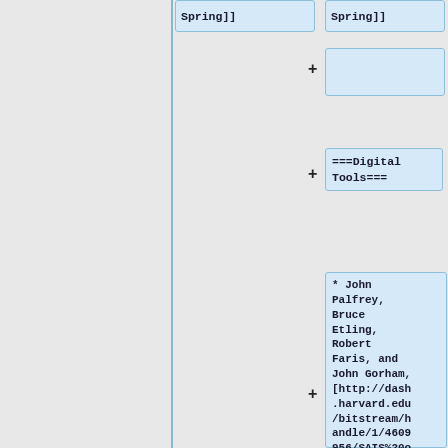Spring]]
Spring]]
===Digital Tools===
* John Palfrey, Bruce Etling, Robert Faris, and John Gorham, [http://dash.harvard.edu/bitstream/handle/1/4609956/SAIS%20online%20organizing%20paper%20final.pdf